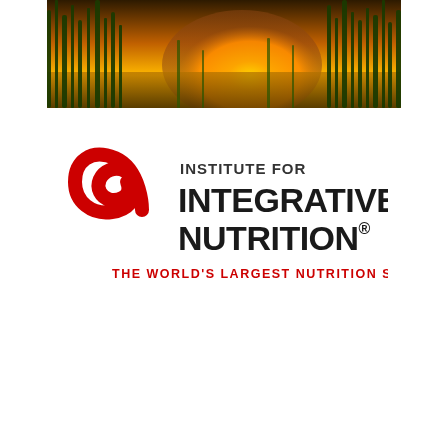[Figure (photo): Nature photo showing tall green reeds/grass with a warm golden-orange sunset and water in the background]
[Figure (logo): Institute for Integrative Nutrition logo — red spiral on left, bold black text 'INSTITUTE FOR INTEGRATIVE NUTRITION' on right, red tagline 'THE WORLD'S LARGEST NUTRITION SCHOOL' below]